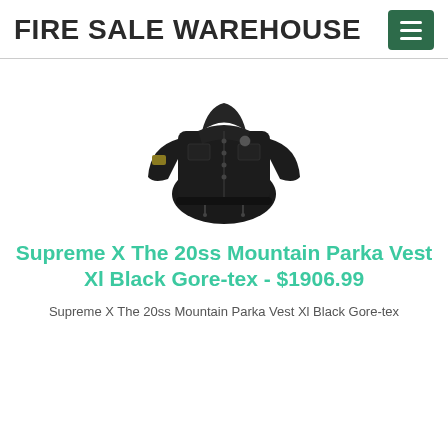FIRE SALE WAREHOUSE
[Figure (photo): Black Supreme X The North Face 20ss Mountain Parka Vest Xl, displayed on white background showing front view of the puffer jacket]
Supreme X The 20ss Mountain Parka Vest Xl Black Gore-tex - $1906.99
Supreme X The 20ss Mountain Parka Vest Xl Black Gore-tex